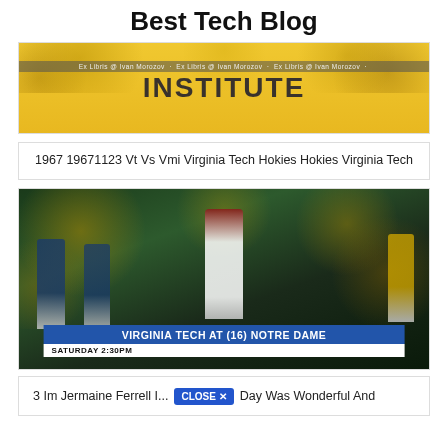Best Tech Blog
[Figure (photo): Yellow banner/book cover with 'INSTITUTE' text and watermark 'Ex Libris @ Ivan Morozov' repeated, with illustrated figures]
1967 19671123 Vt Vs Vmi Virginia Tech Hokies Hokies Virginia Tech
[Figure (photo): Football game photo: Virginia Tech vs Notre Dame players on field with crowd in background. On-screen scorebug reads 'VIRGINIA TECH AT (16) NOTRE DAME' and 'SATURDAY 2:30PM']
3 Im Jermaine Ferrell I… CLOSE X …Day Was Wonderful And